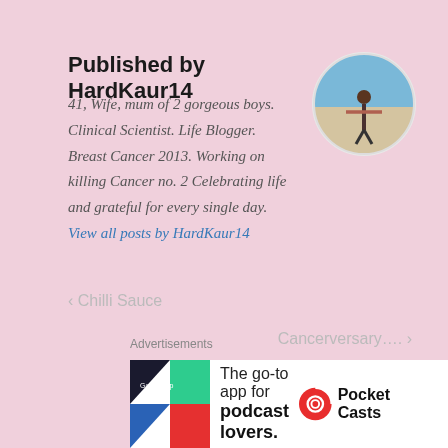Published by HardKaur14
41, Wife, mum of 2 gorgeous boys. Clinical Scientist. Life Blogger. Breast Cancer 2013. Working on killing Cancer no. 2 Celebrating life and grateful for every single day. View all posts by HardKaur14
[Figure (photo): Circular avatar photo of a person on a beach with arms outstretched]
‹ Chilli Sauce
Cancerversary…. ›
Advertisements
[Figure (infographic): Pocket Casts advertisement: The go-to app for podcast lovers.]